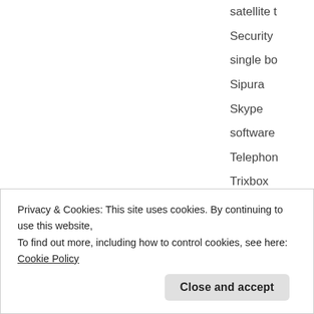satellite t
Security
single bo
Sipura
Skype
software
Telephon
Trixbox
Tvheader
Twitter
Ubuntu
Privacy & Cookies: This site uses cookies. By continuing to use this website, To find out more, including how to control cookies, see here: Cookie Policy
Close and accept